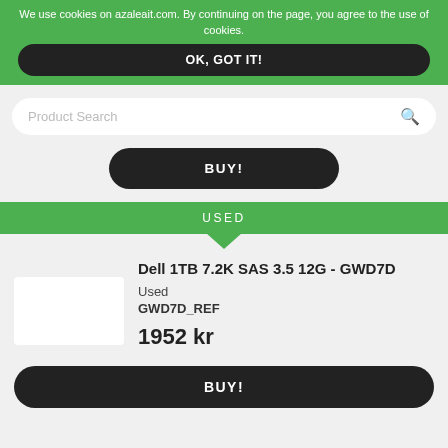We use cookies on azaleait.com. By continuing on the page, you agree to the use of cookies.
OK, GOT IT!
[Figure (screenshot): Search bar with 'Product Search' placeholder and search icon]
BUY!
USED
Dell 1TB 7.2K SAS 3.5 12G - GWD7D
Used
GWD7D_REF
1952 kr
BUY!